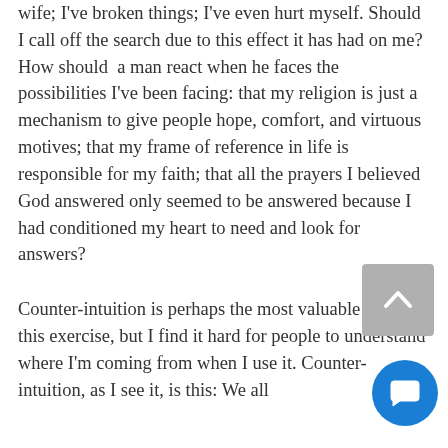wife; I've broken things; I've even hurt myself. Should I call off the search due to this effect it has had on me? How should a man react when he faces the possibilities I've been facing: that my religion is just a mechanism to give people hope, comfort, and virtuous motives; that my frame of reference in life is responsible for my faith; that all the prayers I believed God answered only seemed to be answered because I had conditioned my heart to need and look for answers?
Counter-intuition is perhaps the most valuable tool in this exercise, but I find it hard for people to understand where I'm coming from when I use it. Counter-intuition, as I see it, is this: We all